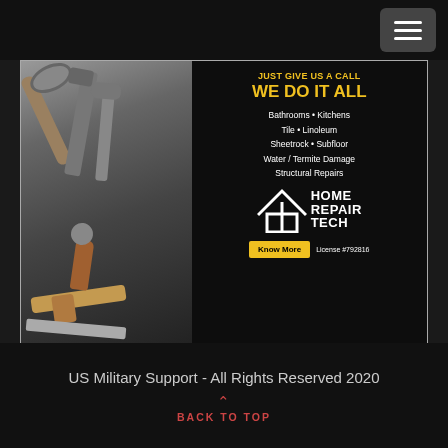[Figure (screenshot): Navigation bar with hamburger menu button (three horizontal lines) on dark background, top right corner]
[Figure (photo): Home Repair Tech advertisement banner. Left half shows photo of tools (wrenches, pliers, hammer on dark surface). Right half on black background shows yellow text 'JUST GIVE US A CALL / WE DO IT ALL' followed by white text listing: 'Bathrooms • Kitchens / Tile • Linoleum / Sheetrock • Subfloor / Water / Termite Damage / Structural Repairs'. Below is a house-shaped logo with 'HOME REPAIR TECH' text in white. Footer row shows yellow 'Know More' button and 'License #792816' in white text.]
US Military Support - All Rights Reserved 2020
BACK TO TOP